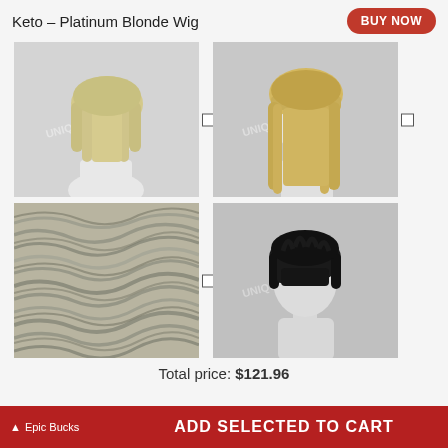Keto - Platinum Blonde Wig
[Figure (photo): Short platinum blonde wig on mannequin head, front view]
[Figure (photo): Long platinum blonde wig with bangs on mannequin head, front view]
[Figure (photo): Close-up texture of platinum blonde wavy wig hair]
[Figure (photo): Short black layered wig on mannequin head, front view]
Total price: $121.96
Epic Bucks  ADD SELECTED TO CART